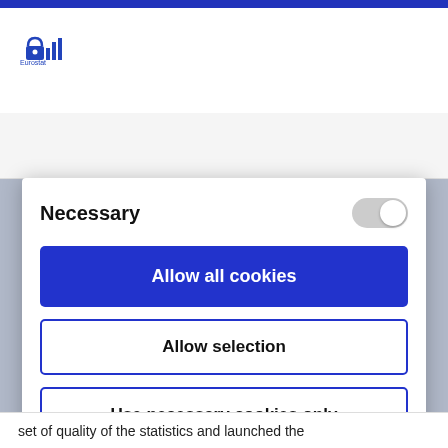[Figure (logo): Eurostat logo - small blue icon with lock/chart symbol]
This website uses cookies
We use cookies to gather information necessary for
Necessary
Allow all cookies
Allow selection
Use necessary cookies only
Powered by Cookiebot by Usercentrics
set of quality of the statistics and launched the